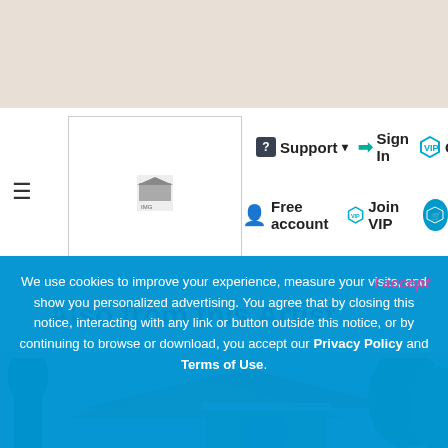Support  Sign In  Gift  Free account  Join VIP
Also from this Artist
[Figure (screenshot): Screenshot of a Sims-style house with brown roofs, green trees, and light blue sky background]
We use cookies to improve your experience, measure your visits, and show you personalized advertising. You agree that by closing this notice, interacting with any link or button outside this notice, or by continuing to browse or download, you accept our Privacy Policy and Terms of Use.